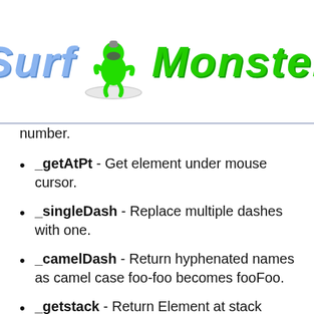[Figure (logo): Surf Monster logo with a green Among Us-style character surfing, 'Surf' in blue italic text and 'Monster' in green italic text, with curly brace decorations below]
number.
_getAtPt - Get element under mouse cursor.
_singleDash - Replace multiple dashes with one.
_camelDash - Return hyphenated names as camel case foo-foo becomes fooFoo.
_getstack - Return Element at stack specified by num as param.
_createEvent - Create events.